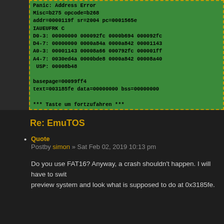[Figure (screenshot): Green terminal screen showing an EmuTOS/Atari crash dump with 'Panic: Address Error', register dump, basepage, text/data/bss info, and message '*** Taste um fortzufahren ***']
Re: EmuTOS
Quote
Postby simon » Sat Feb 02, 2019 10:13 pm
Do you use FAT16? Anyway, a crash shouldn't happen. I will have to swit preview system and look what is supposed to do at 0x3185fe.